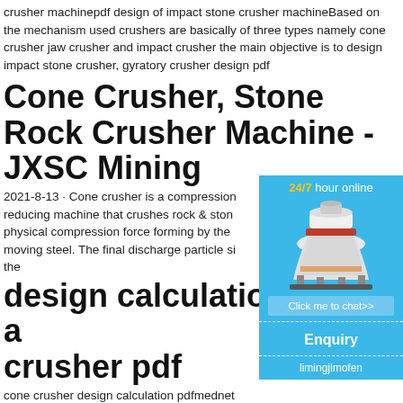crusher machinepdf design of impact stone crusher machineBased on the mechanism used crushers are basically of three types namely cone crusher jaw crusher and impact crusher the main objective is to design impact stone crusher, gyratory crusher design pdf
Cone Crusher, Stone Rock Crusher Machine - JXSC Mining
2021-8-13 · Cone crusher is a compression reducing machine that crushes rock & stone by physical compression force forming by the moving steel. The final discharge particle size by the
design calculation of a crusher pdf
cone crusher design calculation pdfmednet Design Calculation Pdf 3 Jan 2014 design crusher pdf Description jaw crusher plant Crusher specification of plant leaf stem gri
[Figure (illustration): 24/7 hour online chat widget showing a cone crusher machine image with 'Click me to chat>>' button, 'Enquiry' section, and 'limingjlmofen' label, on a blue background.]